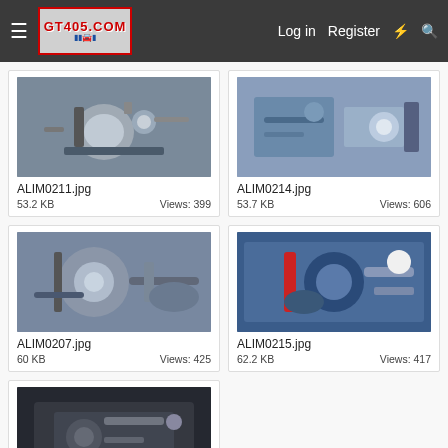GT405.COM  Log in  Register
[Figure (photo): Engine/mechanical component photo - ALIM0211.jpg]
ALIM0211.jpg
53.2 KB   Views: 399
[Figure (photo): Engine/mechanical component photo - ALIM0214.jpg]
ALIM0214.jpg
53.7 KB   Views: 606
[Figure (photo): Engine/mechanical component photo - ALIM0207.jpg]
ALIM0207.jpg
60 KB   Views: 425
[Figure (photo): Engine/mechanical component photo - ALIM0215.jpg]
ALIM0215.jpg
62.2 KB   Views: 417
[Figure (photo): Engine/mechanical component photo - ALIM0216.jpg]
ALIM0216.jpg
52.3 KB   Views: 450